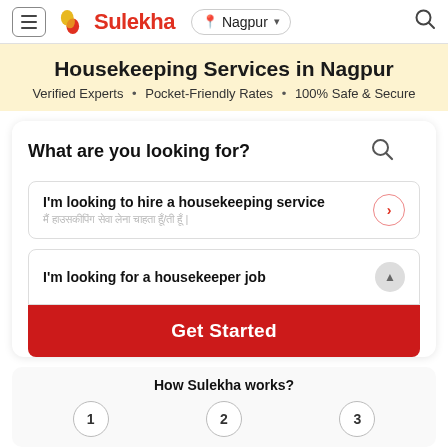Sulekha — Nagpur
Housekeeping Services in Nagpur
Verified Experts • Pocket-Friendly Rates • 100% Safe & Secure
What are you looking for?
I'm looking to hire a housekeeping service
I'm looking for a housekeeper job
Get Started
How Sulekha works?
1
2
3